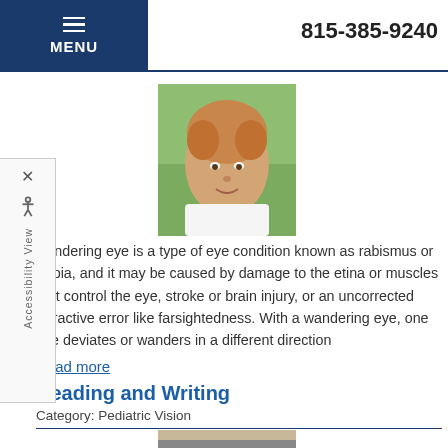MENU
815-385-9240
[Figure (photo): Photo of a young child with curly reddish-brown hair wearing a white shirt, smiling outdoors with green foliage in the background.]
wandering eye is a type of eye condition known as rabismus or tropia, and it may be caused by damage to the etina or muscles that control the eye, stroke or brain injury, or an uncorrected refractive error like farsightedness. With a wandering eye, one eye deviates or wanders in a different direction
Read more
Reading and Writing
Category: Pediatric Vision
[Figure (photo): Partial photo of a person reading or writing, partially visible at the bottom of the page.]